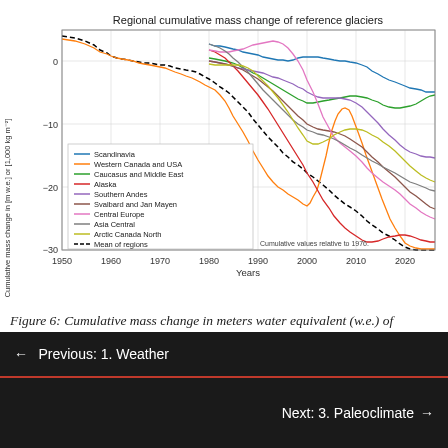[Figure (line-chart): Multi-line chart showing regional cumulative mass change of reference glaciers from ~1950 to ~2023. Lines for Scandinavia (blue), Western Canada and USA (orange), Caucasus and Middle East (green), Alaska (red), Southern Andes (purple), Svalbard and Jan Mayen (brown), Central Europe (pink), Asia Central (gray), Arctic Canada North (yellow), and Mean of regions (black dashed). All lines trend downward over time, with values relative to 1976.]
Figure 6: Cumulative mass change in meters water equivalent (w.e.) of mountain glaciers. From the World Glacier Monitoring Service.
← Previous: 1. Weather
Next: 3. Paleoclimate →